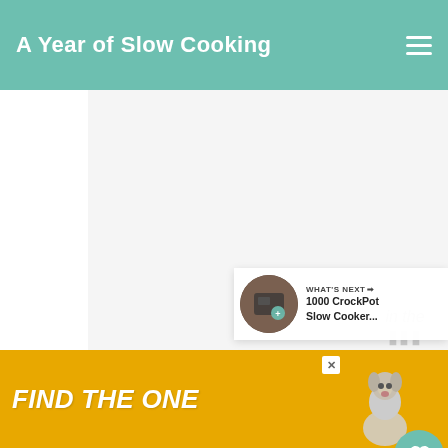A Year of Slow Cooking
[Figure (screenshot): Website screenshot of 'A Year of Slow Cooking' blog with teal header bar, navigation hamburger menu, large blank main content/image area, floating heart like button showing count 1, share button, 'WHAT'S NEXT' panel showing '1000 CrockPot Slow Cooker...' with thumbnail, and ad banner at bottom reading 'FIND THE ONE' with dog image]
WHAT'S NEXT → 1000 CrockPot Slow Cooker...
FIND THE ONE
in the